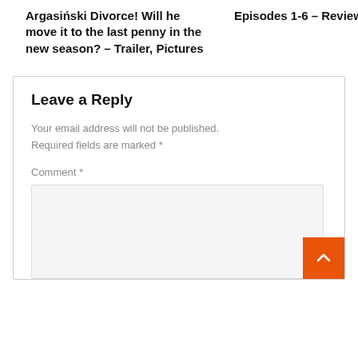Argasiński Divorce! Will he move it to the last penny in the new season? – Trailer, Pictures
Episodes 1-6 – Review
Leave a Reply
Your email address will not be published. Required fields are marked *
Comment *